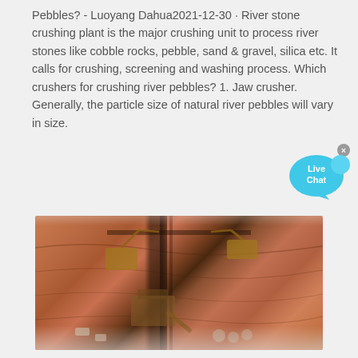Pebbles? - Luoyang Dahua2021-12-30 · River stone crushing plant is the major crushing unit to process river stones like cobble rocks, pebble, sand & gravel, silica etc. It calls for crushing, screening and washing process. Which crushers for crushing river pebbles? 1. Jaw crusher. Generally, the particle size of natural river pebbles will vary in size.
[Figure (screenshot): Live Chat button widget - a cyan speech bubble with 'Live Chat' text and an X close button]
[Figure (photo): Aerial view of a river stone / mineral crushing plant facility showing heavy machinery, conveyor belts, and excavators on reddish-brown earth terrain]